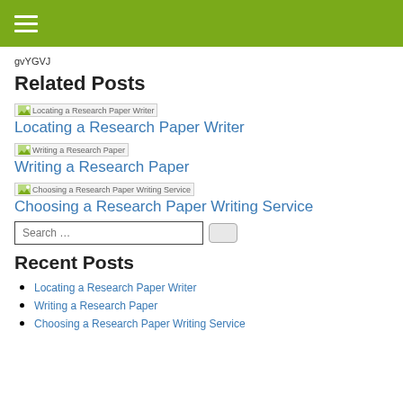gvYGVJ
Related Posts
[Figure (photo): Thumbnail image for Locating a Research Paper Writer]
Locating a Research Paper Writer
[Figure (photo): Thumbnail image for Writing a Research Paper]
Writing a Research Paper
[Figure (photo): Thumbnail image for Choosing a Research Paper Writing Service]
Choosing a Research Paper Writing Service
Search …
Recent Posts
Locating a Research Paper Writer
Writing a Research Paper
Choosing a Research Paper Writing Service